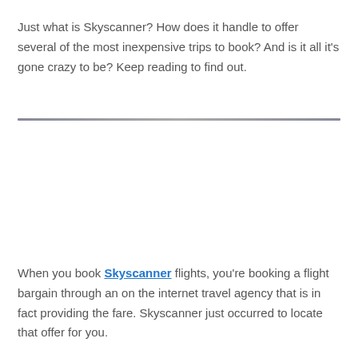Just what is Skyscanner? How does it handle to offer several of the most inexpensive trips to book? And is it all it's gone crazy to be? Keep reading to find out.
When you book Skyscanner flights, you're booking a flight bargain through an on the internet travel agency that is in fact providing the fare. Skyscanner just occurred to locate that offer for you.